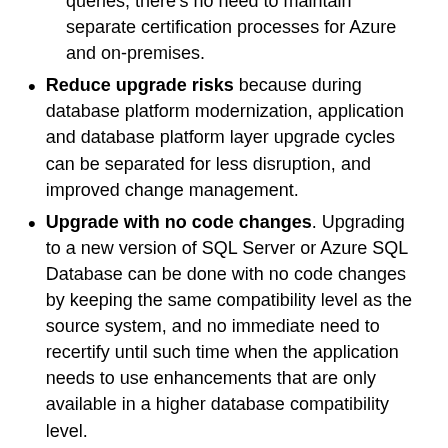queries, there's no need to maintain separate certification processes for Azure and on-premises.
Reduce upgrade risks because during database platform modernization, application and database platform layer upgrade cycles can be separated for less disruption, and improved change management.
Upgrade with no code changes. Upgrading to a new version of SQL Server or Azure SQL Database can be done with no code changes by keeping the same compatibility level as the source system, and no immediate need to recertify until such time when the application needs to use enhancements that are only available in a higher database compatibility level.
Improve manageability and scalability without requiring application changes, using enhancements that aren't gated by database compatibility level. In SQL Server these include for example:
Rich monitoring and troubleshooting